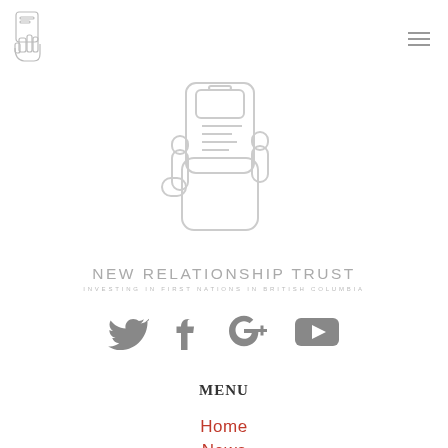[Figure (logo): Small NRT logo in top-left corner header]
[Figure (logo): Large New Relationship Trust logo — hand holding document outline, light grey]
NEW RELATIONSHIP TRUST
INVESTING IN FIRST NATIONS IN BRITISH COLUMBIA
[Figure (illustration): Social media icons: Twitter bird, Facebook f, Google+, YouTube play button — all grey]
MENU
Home
News
Events